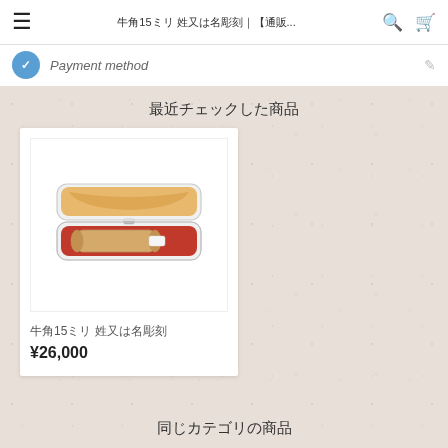牛角15ミリ 姓又は名彫刻｜【通販...
Payment method
最近チェックした商品
[Figure (photo): A Japanese hanko (personal seal) stamp in an open white case with red velvet lining and decorative orange interior lid. The cylindrical wooden stamp is resting in the lower tray.]
牛角15ミリ 姓又は名彫刻
¥26,000
同じカテゴリの商品